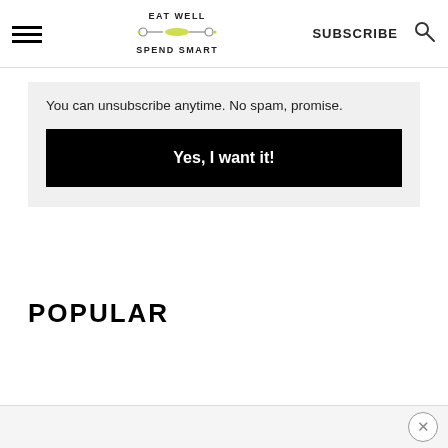Eat Well Spend Smart — SUBSCRIBE
You can unsubscribe anytime. No spam, promise.
Yes, I want it!
POPULAR